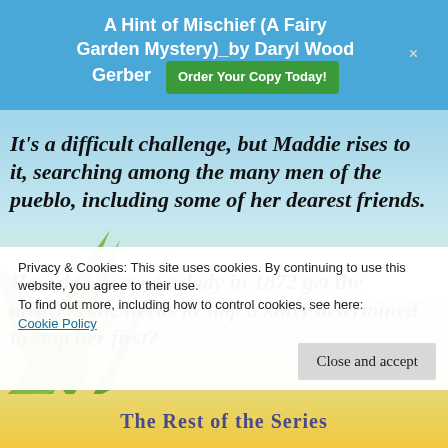A Hint of Mischief (A Fairy Garden Mystery)_by Daryl Wood Gerber | Order Your Copy Today!
It's a difficult challenge, but Maddie rises to it, searching among the many men of the pueblo, including some of her dearest friends.
How does a proper lady in 1872 get the answers she needs to stop a killer determined to stop her first?
Privacy & Cookies: This site uses cookies. By continuing to use this website, you agree to their use.
To find out more, including how to control cookies, see here:
Cookie Policy
Close and accept
The Rest of the Series